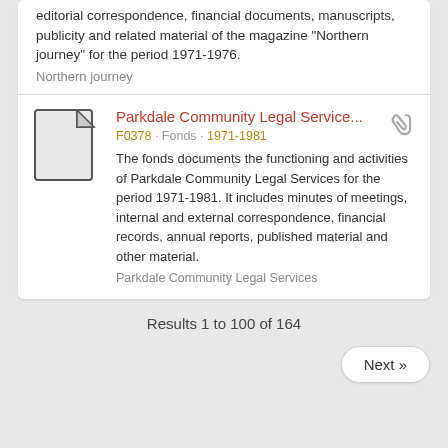editorial correspondence, financial documents, manuscripts, publicity and related material of the magazine "Northern journey" for the period 1971-1976.
Northern journey
Parkdale Community Legal Service...
F0378 · Fonds · 1971-1981
The fonds documents the functioning and activities of Parkdale Community Legal Services for the period 1971-1981. It includes minutes of meetings, internal and external correspondence, financial records, annual reports, published material and other material.
Parkdale Community Legal Services
Results 1 to 100 of 164
Next »